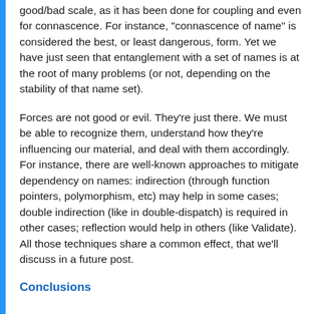good/bad scale, as it has been done for coupling and even for connascence. For instance, "connascence of name" is considered the best, or least dangerous, form. Yet we have just seen that entanglement with a set of names is at the root of many problems (or not, depending on the stability of that name set).
Forces are not good or evil. They're just there. We must be able to recognize them, understand how they're influencing our material, and deal with them accordingly. For instance, there are well-known approaches to mitigate dependency on names: indirection (through function pointers, polymorphism, etc) may help in some cases; double indirection (like in double-dispatch) is required in other cases; reflection would help in others (like Validate). All those techniques share a common effect, that we'll discuss in a future post.
Conclusions